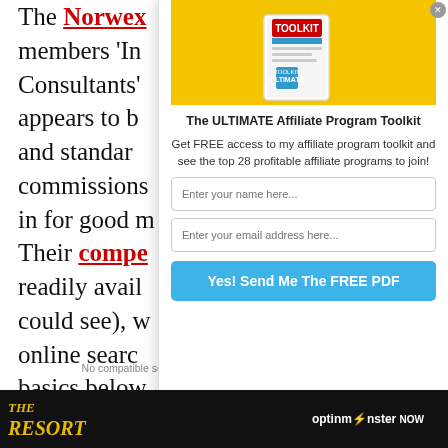The Norwex members 'In Consultants' appears to be and standard commissions in for good m Their compe readily avail could see), w online searc basics below
[Figure (screenshot): Popup overlay showing 'The ULTIMATE Affiliate Program Toolkit' with a yellow background book image, form fields for name and email, and a blue submit button.]
The ULTIMATE Affiliate Program Toolkit
Get FREE access to my affiliate program toolkit and see the top 28 profitable affiliate programs to join!
No compatible source was found for this media.
[Figure (screenshot): Bottom bar showing 'THE RESORT' text on dark background and OptinMonster logo.]